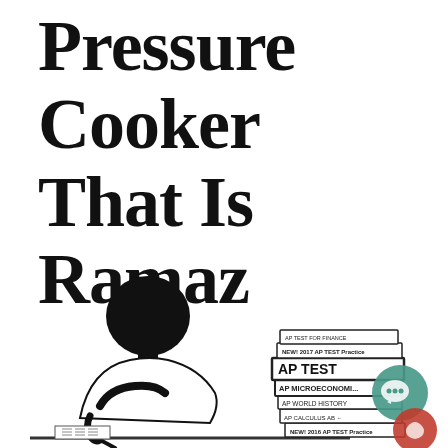Pressure Cooker That Is Ramaz
[Figure (illustration): A black and white illustration of a student hunched over a desk writing, with a large stack of AP test prep books beside them. Books visible include labels: 'AP TEST FOR FINANCE', '2017 AP TEST Practice Book', 'AP TEST', 'AP MICROECONOMICS', 'AP WORLD HISTORY', 'AP CALCULUS AB', 'NEW! 2016 AP TEST Practice Book'. A teal speech-bubble icon and a red icon overlay the right side.]